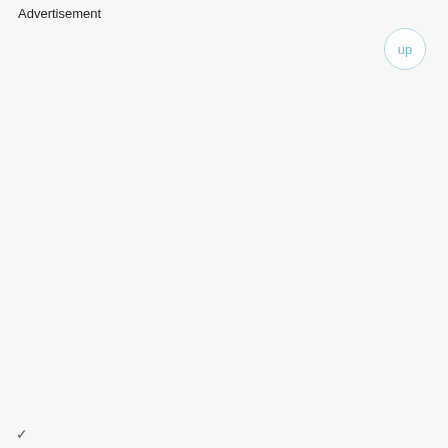Advertisement
[Figure (other): A circular 'up' navigation button with light blue text and border on a white/light grey background]
v